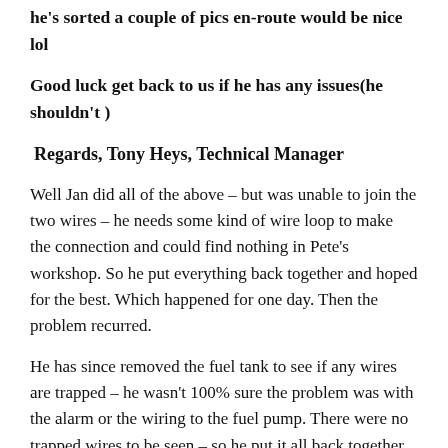he's sorted a couple of pics en-route would be nice lol
Good luck get back to us if he has any issues(he shouldn't )
Regards, Tony Heys, Technical Manager
Well Jan did all of the above – but was unable to join the two wires – he needs some kind of wire loop to make the connection and could find nothing in Pete's workshop. So he put everything back together and hoped for the best. Which happened for one day. Then the problem recurred.
He has since removed the fuel tank to see if any wires are trapped – he wasn't 100% sure the problem was with the alarm or the wiring to the fuel pump. There were no trapped wires to be seen – so he put it all back together again.